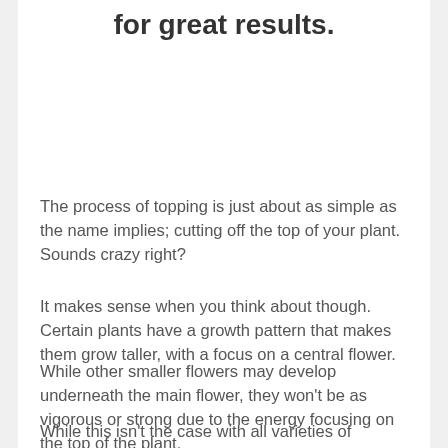for great results.
The process of topping is just about as simple as the name implies; cutting off the top of your plant. Sounds crazy right?
It makes sense when you think about though. Certain plants have a growth pattern that makes them grow taller, with a focus on a central flower.
While other smaller flowers may develop underneath the main flower, they won't be as vigorous or strong due to the energy focusing on the top of the plant.
While this isn't the case with all varieties of